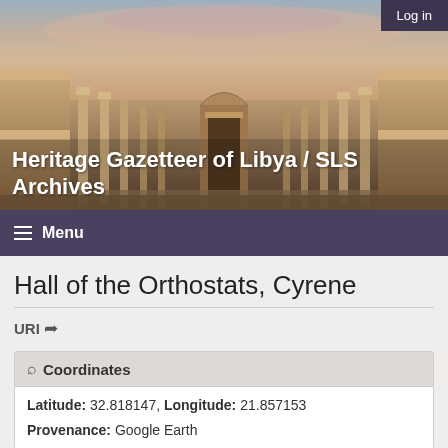[Figure (photo): Hero banner showing ancient Roman ruins at Cyrene, Libya — symmetrical columns and stone arches at dusk with a pink and purple sky, mirrored composition]
Heritage Gazetteer of Libya / SLS Archives
Log in
Menu
Hall of the Orthostats, Cyrene
URI
| Coordinates |
| --- |
| Latitude: 32.818147, Longitude: 21.857153 |
| Provenance: Google Earth |